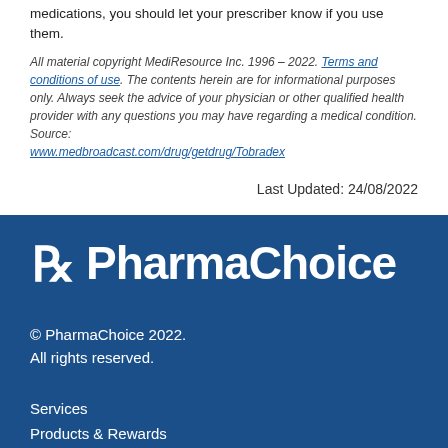medications, you should let your prescriber know if you use them.
All material copyright MediResource Inc. 1996 – 2022. Terms and conditions of use. The contents herein are for informational purposes only. Always seek the advice of your physician or other qualified health provider with any questions you may have regarding a medical condition. Source: www.medbroadcast.com/drug/getdrug/Tobradex
Last Updated: 24/08/2022
[Figure (logo): PharmaChoice logo with Rx symbol on blue background]
© PharmaChoice 2022.
All rights reserved.
Services
Products & Rewards
Health Advice